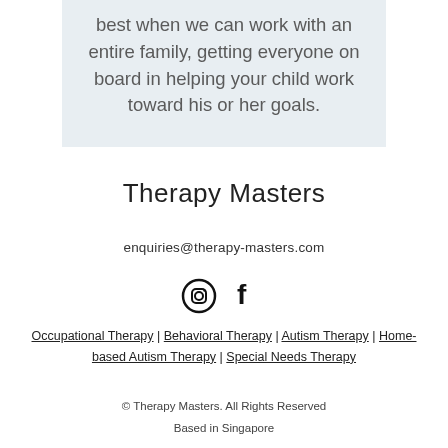best when we can work with an entire family, getting everyone on board in helping your child work toward his or her goals.
Therapy Masters
enquiries@therapy-masters.com
[Figure (other): Instagram and Facebook social media icons]
Occupational Therapy | Behavioral Therapy | Autism Therapy | Home-based Autism Therapy | Special Needs Therapy
© Therapy Masters. All Rights Reserved
Based in Singapore